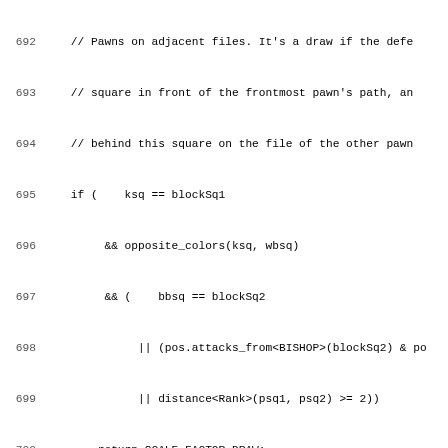Source code listing, lines 692-723, C++ chess engine endgame scaling logic (KBP vs KN).